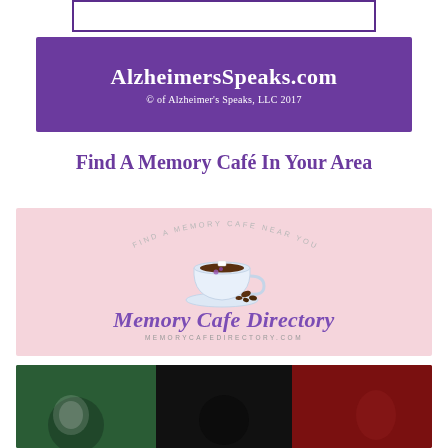[Figure (other): Empty white rectangle with purple border at top of page]
[Figure (logo): Purple banner with white text reading AlzheimersSpeaks.com and copyright line '© of Alzheimer's Speaks, LLC 2017']
Find A Memory Café In Your Area
[Figure (logo): Memory Cafe Directory logo on pink background featuring a coffee cup with beans, arc text reading 'FIND A MEMORY CAFE NEAR YOU', large italic text 'Memory Cafe Directory' in purple, and URL MEMORYCAFEDIRECTORY.COM]
[Figure (photo): Partial bottom strip image showing dark background with green, black, and red sections containing partially visible figures]